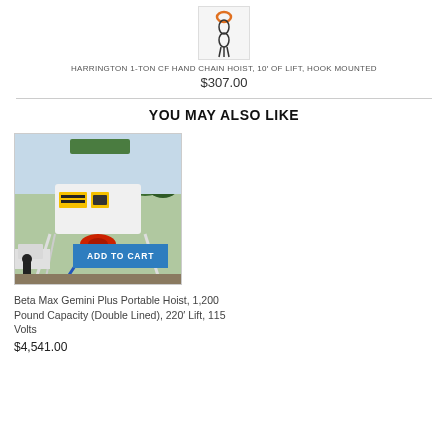[Figure (photo): Product image of a chain hoist with orange hooks and chains on white background]
HARRINGTON 1-TON CF HAND CHAIN HOIST, 10′ OF LIFT, HOOK MOUNTED
$307.00
YOU MAY ALSO LIKE
[Figure (photo): Beta Max Gemini Plus Portable Hoist mounted outdoors on a frame, white body with yellow labels, red spool, blue cable, with an ADD TO CART button overlay]
Beta Max Gemini Plus Portable Hoist, 1,200 Pound Capacity (Double Lined), 220′ Lift, 115 Volts
$4,541.00